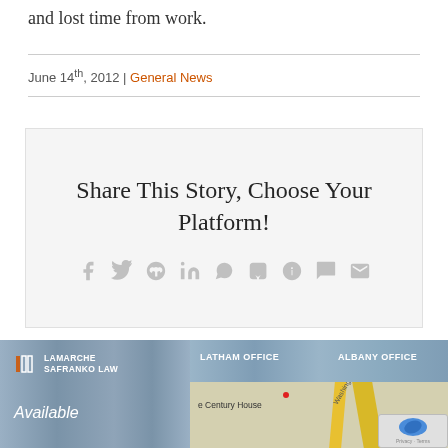and lost time from work.
June 14th, 2012 | General News
[Figure (infographic): Share This Story, Choose Your Platform! box with social media icons for Facebook, Twitter, Reddit, LinkedIn, WhatsApp, Tumblr, Pinterest, VK, and Email]
[Figure (infographic): Footer area with LaMARCHE SAFRANKO LAW logo and Available text on left, and LATHAM OFFICE and ALBANY OFFICE headings with a partial Google Map on right]
[Figure (other): reCAPTCHA badge with Privacy and Terms text]